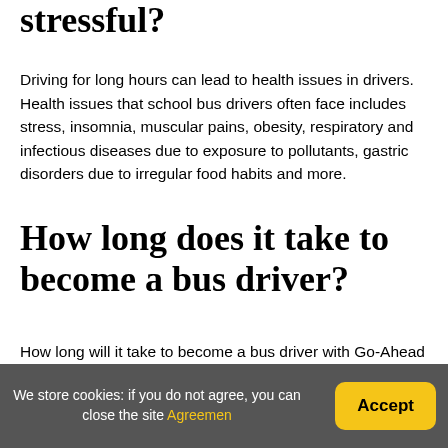stressful?
Driving for long hours can lead to health issues in drivers. Health issues that school bus drivers often face includes stress, insomnia, muscular pains, obesity, respiratory and infectious diseases due to exposure to pollutants, gastric disorders due to irregular food habits and more.
How long does it take to become a bus driver?
How long will it take to become a bus driver with Go-Ahead London? Your initial licence acquisition training will last approximately 7-8 weeks. Our driver training programme is part of a “Level 2 Passenger Transport Driver – Bus”
We store cookies: if you do not agree, you can close the site Agreemen
Accept